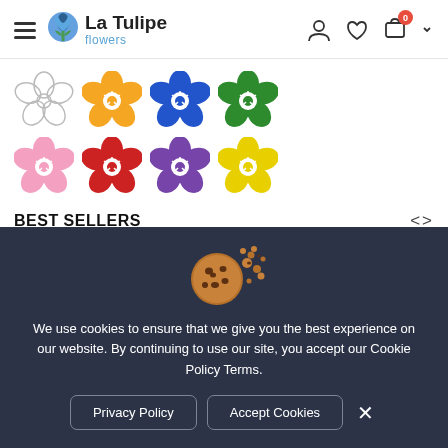La Tulipe flowers — navigation header with hamburger menu, logo, user icon, wishlist icon, cart icon (badge: 0)
[Figure (illustration): Eight flower color swatches in two rows: row 1: white/outline, orange, blue, green; row 2: pink, red, purple, yellow]
BEST SELLERS
[Figure (photo): Partially visible product image — appears to be a flower bouquet]
[Figure (illustration): Cookie consent popup with cookie illustration image, text, and two buttons]
We use cookies to ensure that we give you the best experience on our website. By continuing to use our site, you accept our Cookie Policy Terms.